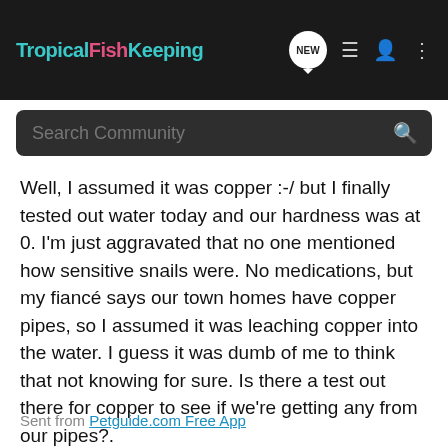TropicalFishKeeping
Well, I assumed it was copper :-/ but I finally tested out water today and our hardness was at 0. I'm just aggravated that no one mentioned how sensitive snails were. No medications, but my fiancé says our town homes have copper pipes, so I assumed it was leaching copper into the water. I guess it was dumb of me to think that not knowing for sure. Is there a test out there for copper to see if we're getting any from our pipes?.
I added 4 more neon tetras today to give them a nice little group. My son is just in awe watching them scoot around together. In another week or two we'll add a couple more corys.
Sent from Petguide.com Free App